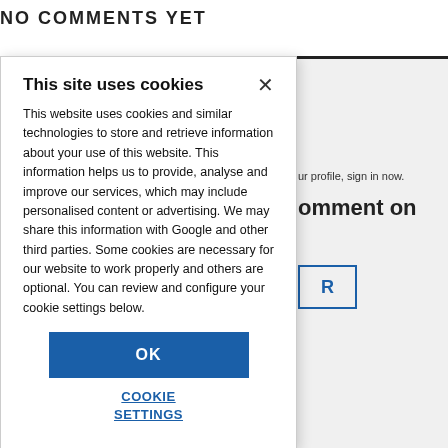NO COMMENTS YET
This site uses cookies
This website uses cookies and similar technologies to store and retrieve information about your use of this website. This information helps us to provide, analyse and improve our services, which may include personalised content or advertising. We may share this information with Google and other third parties. Some cookies are necessary for our website to work properly and others are optional. You can review and configure your cookie settings below.
OK
COOKIE SETTINGS
ur profile, sign in now.
omment on
R